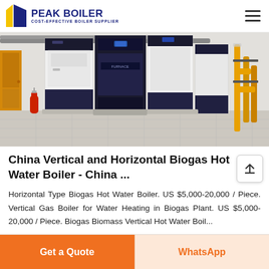PEAK BOILER - COST-EFFECTIVE BOILER SUPPLIER
[Figure (photo): Industrial boiler room showing multiple large vertical dark-colored (navy/white) boilers installed on a tiled floor, with yellow pipes and fittings visible on the right side, and a red fire extinguisher on the left.]
China Vertical and Horizontal Biogas Hot Water Boiler - China ...
Horizontal Type Biogas Hot Water Boiler. US $5,000-20,000 / Piece. Vertical Gas Boiler for Water Heating in Biogas Plant. US $5,000-20,000 / Piece. Biogas Biomass Vertical Hot Water Boil...
Get a Quote | WhatsApp